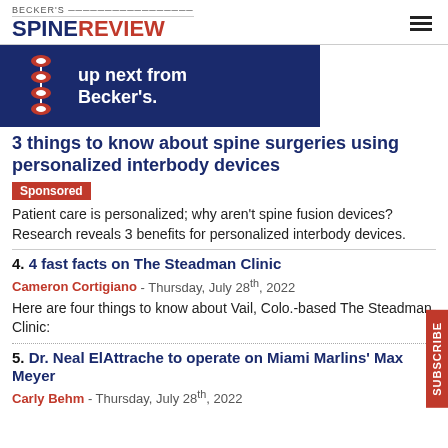BECKER'S SPINE REVIEW
[Figure (other): Becker's Spine Review advertisement banner with dark navy background, spine logo, and text 'up next from Becker's.']
3 things to know about spine surgeries using personalized interbody devices
Sponsored
Patient care is personalized; why aren't spine fusion devices? Research reveals 3 benefits for personalized interbody devices.
4. 4 fast facts on The Steadman Clinic
Cameron Cortigiano - Thursday, July 28th, 2022
Here are four things to know about Vail, Colo.-based The Steadman Clinic:
5. Dr. Neal ElAttrache to operate on Miami Marlins' Max Meyer
Carly Behm - Thursday, July 28th, 2022